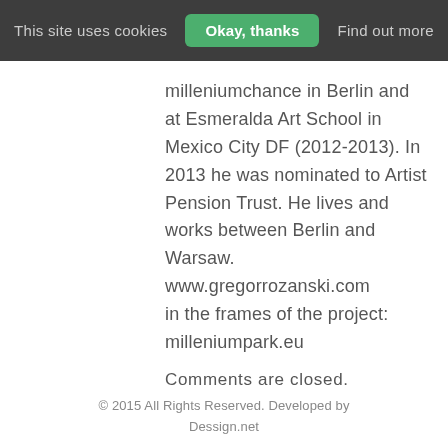This site uses cookies   Okay, thanks   Find out more
milleniumchance in Berlin and at Esmeralda Art School in Mexico City DF (2012-2013). In 2013 he was nominated to Artist Pension Trust. He lives and works between Berlin and Warsaw.
www.gregorrozanski.com
in the frames of the project:
milleniumpark.eu
Comments are closed.
© 2015 All Rights Reserved. Developed by Dessign.net